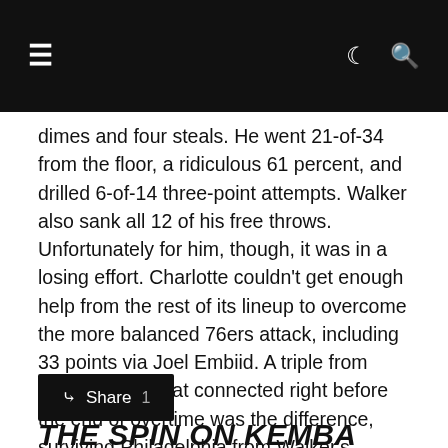Navigation bar with hamburger menu, moon icon, and search icon
dimes and four steals. He went 21-of-34 from the floor, a ridiculous 61 percent, and drilled 6-of-14 three-point attempts. Walker also sank all 12 of his free throws.
Unfortunately for him, though, it was in a losing effort. Charlotte couldn't get enough help from the rest of its lineup to overcome the more balanced 76ers attack, including 33 points via Joel Embiid. A triple from Jimmy Butler that connected right before the end of overtime was the difference, surviving Philadelphia from Walker's onslaught.
Share 1
THE SPIN ON KEMBA